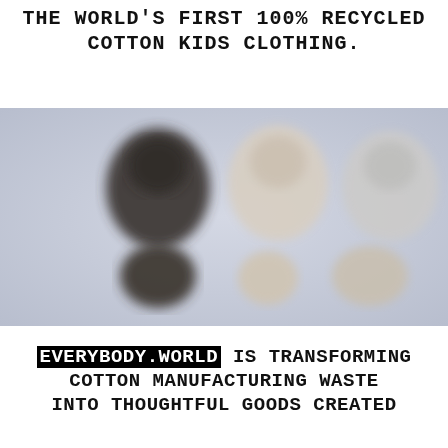THE WORLD'S FIRST 100% RECYCLED COTTON KIDS CLOTHING.
[Figure (photo): Blurred photo of small recycled cotton clothing items (kids garments) arranged on a light blue-gray background. Three items in the top row and three in the bottom row, varying in dark gray and light/white colors.]
EVERYBODY.WORLD IS TRANSFORMING COTTON MANUFACTURING WASTE INTO THOUGHTFUL GOODS CREATED